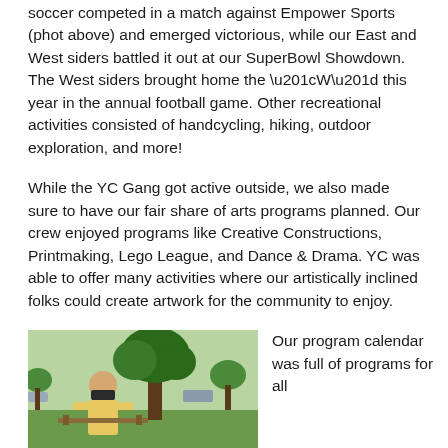soccer competed in a match against Empower Sports (phot above) and emerged victorious, while our East and West siders battled it out at our SuperBowl Showdown. The West siders brought home the “W” this year in the annual football game. Other recreational activities consisted of handcycling, hiking, outdoor exploration, and more!
While the YC Gang got active outside, we also made sure to have our fair share of arts programs planned. Our crew enjoyed programs like Creative Constructions, Printmaking, Lego League, and Dance & Drama. YC was able to offer many activities where our artistically inclined folks could create artwork for the community to enjoy.
[Figure (photo): A person wearing a mask sitting outdoors in a park setting near a tree]
Our program calendar was full of programs for all